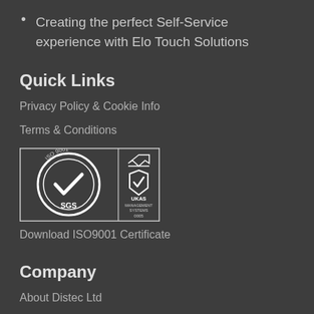Creating the perfect Self-Service experience with Elo Touch Solutions
Quick Links
Privacy Policy & Cookie Info
Terms & Conditions
[Figure (logo): SGS ISO 9001 certification logo with UKAS Management Systems accreditation mark, number 0005]
Download ISO9001 Certificate
Company
About Distec Ltd
Contact Us